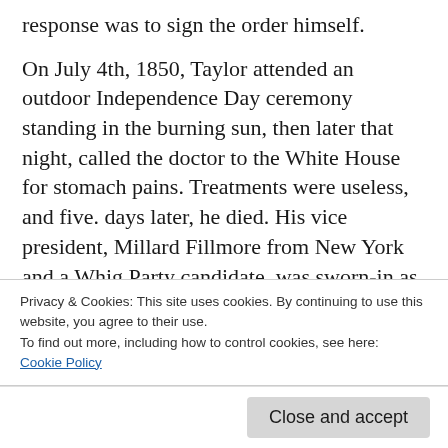response was to sign the order himself.

On July 4th, 1850, Taylor attended an outdoor Independence Day ceremony standing in the burning sun, then later that night, called the doctor to the White House for stomach pains. Treatments were useless, and five. days later, he died. His vice president, Millard Fillmore from New York and a Whig Party candidate, was sworn-in as president. Fillmore had opposed the congressional compromise on slavery and the western territories. Unlike Taylor, Fillmore believed a national crisis was at hand and that
Privacy & Cookies: This site uses cookies. By continuing to use this website, you agree to their use.
To find out more, including how to control cookies, see here:
Cookie Policy
Close and accept
1850 Compromise and President Fillmore